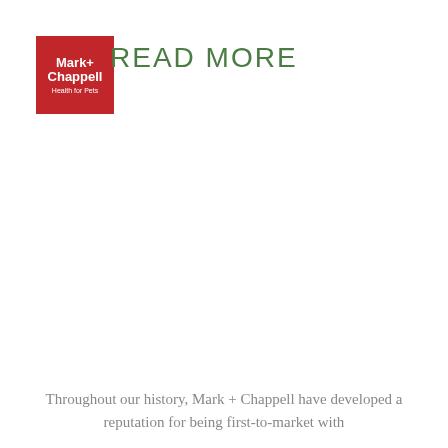[Figure (logo): Mark + Chappell logo: red square background with white text reading 'Mark+ Chappell' and smaller text 'Health for Pets']
READ MORE
Throughout our history, Mark + Chappell have developed a reputation for being first-to-market with